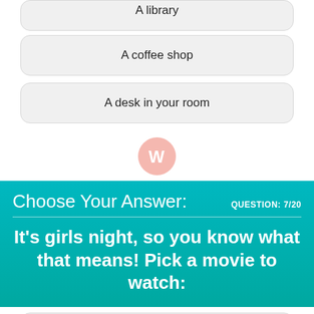A library
A coffee shop
A desk in your room
[Figure (logo): Pink circular logo with white W letter]
Choose Your Answer:
QUESTION: 7/20
It's girls night, so you know what that means! Pick a movie to watch:
Mean Girls